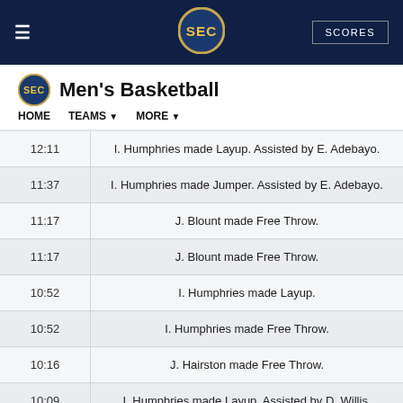SEC Men's Basketball — SCORES
Men's Basketball
HOME   TEAMS   MORE
| Time | Play |
| --- | --- |
| 12:11 | I. Humphries made Layup. Assisted by E. Adebayo. |
| 11:37 | I. Humphries made Jumper. Assisted by E. Adebayo. |
| 11:17 | J. Blount made Free Throw. |
| 11:17 | J. Blount made Free Throw. |
| 10:52 | I. Humphries made Layup. |
| 10:52 | I. Humphries made Free Throw. |
| 10:16 | J. Hairston made Free Throw. |
| 10:09 | I. Humphries made Layup. Assisted by D. Willis. |
| 9:32 | M. Mulder made Jumper. Assisted by I. Humphries. |